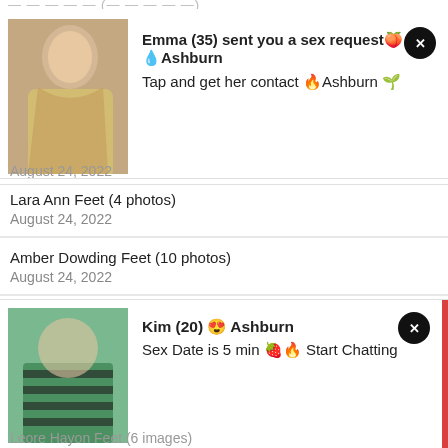[Figure (photo): Ad banner: photo of a young woman with long blonde hair in a yellow top, used as advertisement thumbnail]
Emma (35) sent you a sex request🍑 💧Ashburn
Tap and get her contact 🔥Ashburn 🌱
August 24, 2022
Lara Ann Feet (4 photos)
August 24, 2022
Amber Dowding Feet (10 photos)
August 24, 2022
Leigh Lezark Feet (7 photos)
August 24, 2022
[Figure (photo): Ad banner: photo of someone wearing a green striped swimsuit, used as advertisement thumbnail]
Kim (20) 😍 Ashburn
Sex Date is 5 min 🍓🔥 Start Chatting
Leore Hayon Feet (6 images)